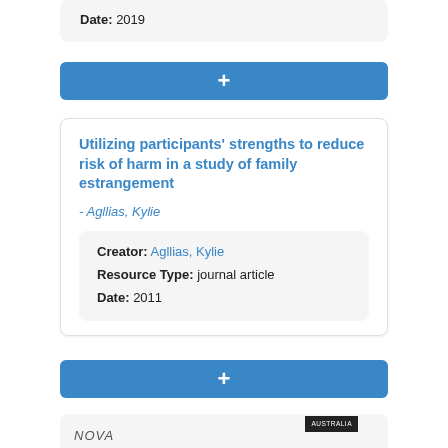Date: 2019
+
Utilizing participants' strengths to reduce risk of harm in a study of family estrangement
- Agllias, Kylie
Creator: Agllias, Kylie
Resource Type: journal article
Date: 2011
+
NOVA